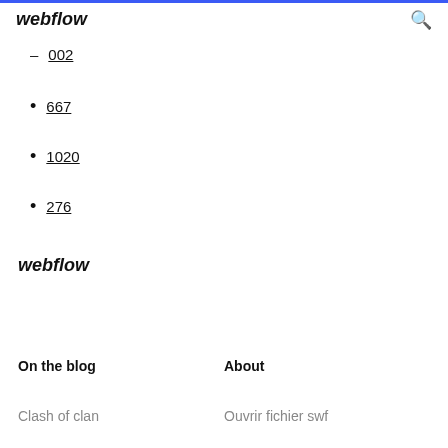webflow
– 002
• 667
• 1020
• 276
webflow
On the blog    About
Clash of clan    Ouvrir fichier swf